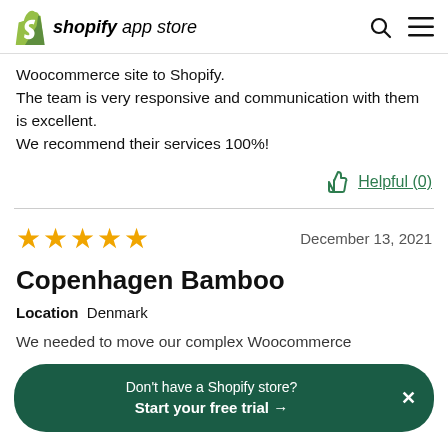shopify app store
Woocommerce site to Shopify.
The team is very responsive and communication with them is excellent.
We recommend their services 100%!
Helpful (0)
★★★★★  December 13, 2021
Copenhagen Bamboo
Location  Denmark
We needed to move our complex Woocommerce
Don't have a Shopify store? Start your free trial →